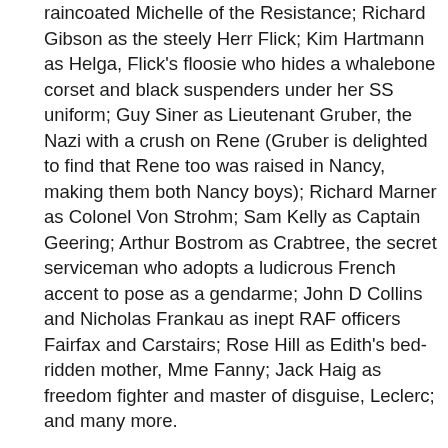raincoated Michelle of the Resistance; Richard Gibson as the steely Herr Flick; Kim Hartmann as Helga, Flick's floosie who hides a whalebone corset and black suspenders under her SS uniform; Guy Siner as Lieutenant Gruber, the Nazi with a crush on Rene (Gruber is delighted to find that Rene too was raised in Nancy, making them both Nancy boys); Richard Marner as Colonel Von Strohm; Sam Kelly as Captain Geering; Arthur Bostrom as Crabtree, the secret serviceman who adopts a ludicrous French accent to pose as a gendarme; John D Collins and Nicholas Frankau as inept RAF officers Fairfax and Carstairs; Rose Hill as Edith's bed-ridden mother, Mme Fanny; Jack Haig as freedom fighter and master of disguise, Leclerc; and many more.